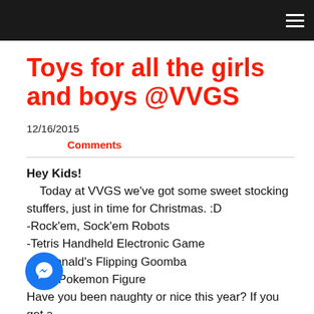Toys for all the girls and boys @VVGS
12/16/2015
Comments
Hey Kids!
	Today at VVGS we've got some sweet stocking stuffers, just in time for Christmas. :D
-Rock'em, Sock'em Robots
-Tetris Handheld Electronic Game
-McDonald's Flipping Goomba
-[obscured] Pokemon Figure
Have you been naughty or nice this year? If you get a